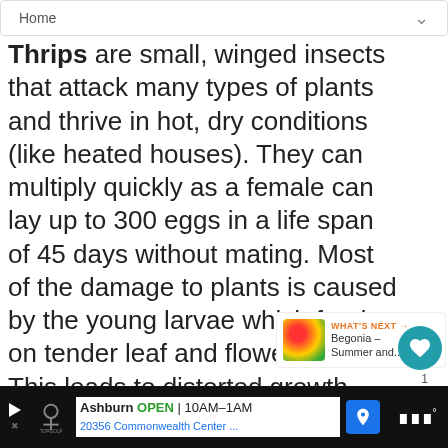Home
Thrips are small, winged insects that attack many types of plants and thrive in hot, dry conditions (like heated houses). They can multiply quickly as a female can lay up to 300 eggs in a life span of 45 days without mating. Most of the damage to plants is caused by the young larvae which feed on tender leaf and flower tissue. This leads to distorted growth, injured flower petals and premature flower drop. Thrips also can transmit many harmful plant viruses.
[Figure (other): What's Next thumbnail showing colorful flowers with label: WHAT'S NEXT → Begonia – Summer and...]
[Figure (other): Advertisement bar: Ashburn OPEN 10AM-1AM, 20356 Commonwealth Center..., Topgolf logo, navigation arrow icon]